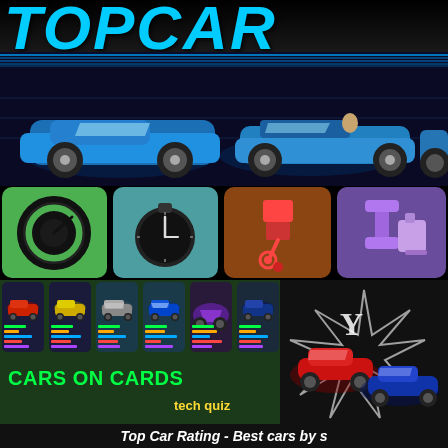TOPCAR
[Figure (screenshot): Blue luxury sports cars racing on dark background with speed lines]
[Figure (screenshot): Four category icon boxes: green speedometer, teal stopwatch, brown piston, purple wrench/bottle]
[Figure (screenshot): Grid of car trading cards showing red, yellow, silver, blue, purple, dark blue, silver cars with stat bars]
CARS ON CARDS
tech quiz
[Figure (screenshot): Racing cars illustration - red and blue cars with star graphic]
Cards
Battle
Collection
Top Car Rating - Best cars by s